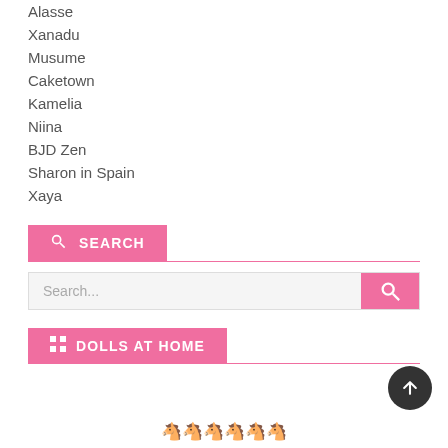Alasse
Xanadu
Musume
Caketown
Kamelia
Niina
BJD Zen
Sharon in Spain
Xaya
SEARCH
Search...
DOLLS AT HOME